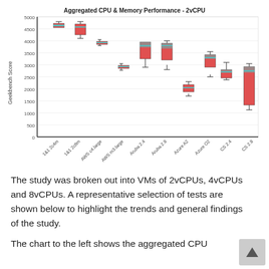[Figure (continuous-plot): Box plot showing aggregated CPU and memory performance for 2vCPU instances across providers: 1&1 2c4m, 1&1 2c8m, AWS c4.large, AWS m3.large, Aruba 2.4, Aruba 2.8, Azure A2, Azure O2, CS 2.4, CS 2.8. Y-axis ranges from 0 to 5000. Most providers cluster between 2800-4700, with Azure A2 around 2100 and CS 2.8 showing wide spread from ~1300 to ~3000.]
The study was broken out into VMs of 2vCPUs, 4vCPUs and 8vCPUs. A representative selection of tests are shown below to highlight the trends and general findings of the study.
The chart to the left shows the aggregated CPU